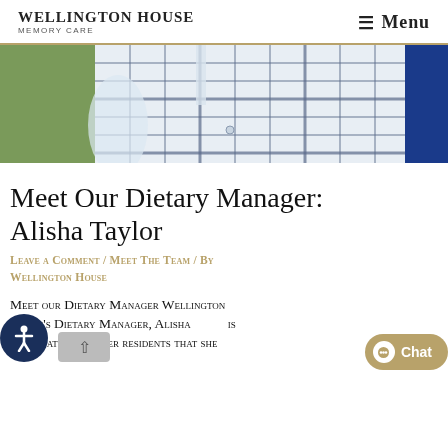Wellington House Memory Care | Menu
[Figure (photo): Close-up photo of a person wearing a white and navy plaid/checked shirt, with green and blue background.]
Meet Our Dietary Manager: Alisha Taylor
Leave a Comment / Meet The Team / By Wellington House
Meet our Dietary Manager Wellington House's Dietary Manager, Alisha is passionate about her residents that she